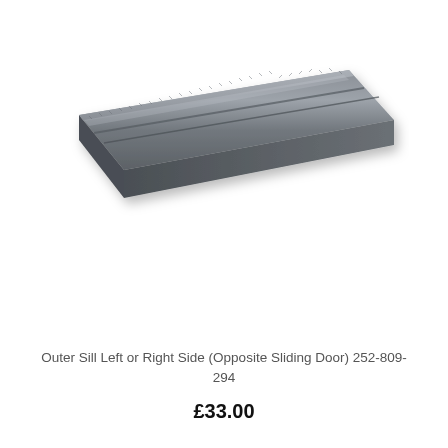[Figure (photo): A long narrow metal outer sill panel, grey/dark steel color, shown diagonally from upper-left to lower-right against a white background. The sill has a ribbed/serrated upper edge and a U-channel cross-section profile.]
Outer Sill Left or Right Side (Opposite Sliding Door) 252-809-294
£33.00